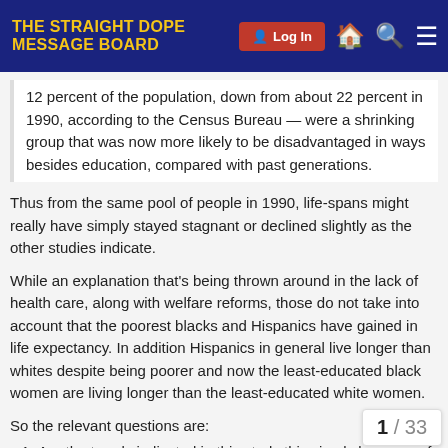THE STRAIGHT DOPE MESSAGE BOARD | Log In
12 percent of the population, down from about 22 percent in 1990, according to the Census Bureau — were a shrinking group that was now more likely to be disadvantaged in ways besides education, compared with past generations.
Thus from the same pool of people in 1990, life-spans might really have simply stayed stagnant or declined slightly as the other studies indicate.
While an explanation that's being thrown around in the lack of health care, along with welfare reforms, those do not take into account that the poorest blacks and Hispanics have gained in life expectancy. In addition Hispanics in general live longer than whites despite being poorer and now the least-educated black women are living longer than the least-educated white women.
So the relevant questions are:
Are the trends indicated in this study this simply because of the shrinking
1 / 33